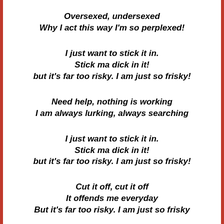Oversexed, undersexed
Why I act this way I'm so perplexed!
I just want to stick it in.
Stick ma dick in it!
but it's far too risky. I am just so frisky!
Need help, nothing is working
I am always lurking, always searching
I just want to stick it in.
Stick ma dick in it!
but it's far too risky. I am just so frisky!
Cut it off, cut it off
It offends me everyday
But it's far too risky. I am just so frisky